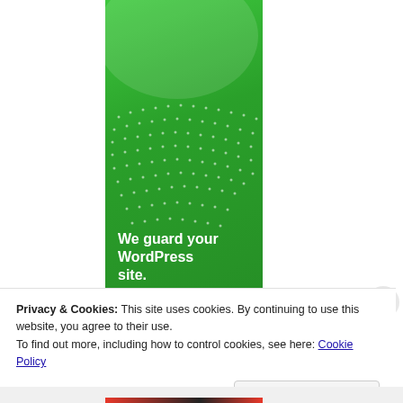[Figure (illustration): Green banner with circular decorative element at top, white dot pattern in middle, and white bold text reading 'We guard your WordPress site.' followed by 'You run your']
Privacy & Cookies: This site uses cookies. By continuing to use this website, you agree to their use.
To find out more, including how to control cookies, see here: Cookie Policy
Close and accept